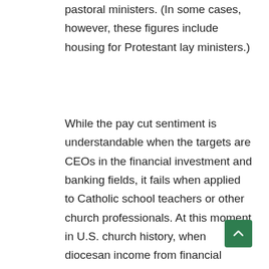pastoral ministers. (In some cases, however, these figures include housing for Protestant lay ministers.)
While the pay cut sentiment is understandable when the targets are CEOs in the financial investment and banking fields, it fails when applied to Catholic school teachers or other church professionals. At this moment in U.S. church history, when diocesan income from financial investments is shaky and diocesan fund-raising campaigns risk lower contributions due to the economy, taking aim at church workers does not contribute to the discussion of resolving our economic crisis.